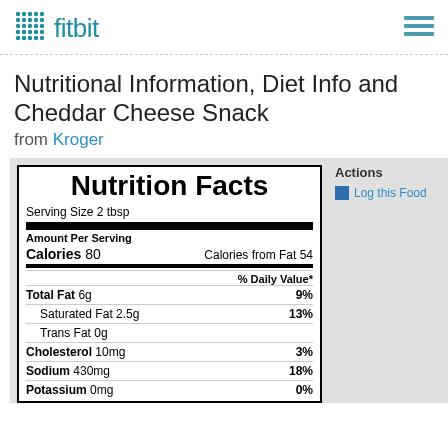fitbit
Nutritional Information, Diet Info and Cheddar Cheese Snack from Kroger
| Nutrient | Amount | % Daily Value |
| --- | --- | --- |
| Serving Size 2 tbsp |  |  |
| Calories | 80 |  |
| Calories from Fat | 54 |  |
| Total Fat | 6g | 9% |
| Saturated Fat | 2.5g | 13% |
| Trans Fat | 0g |  |
| Cholesterol | 10mg | 3% |
| Sodium | 430mg | 18% |
| Potassium | 0mg | 0% |